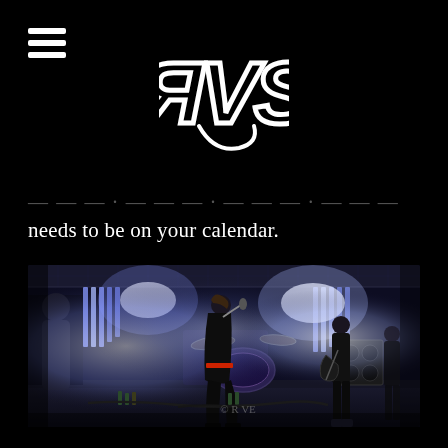RVS logo and navigation
needs to be on your calendar.
[Figure (photo): Concert photo showing a rock band performing on stage. A lead singer in a black leather jacket leans back dramatically while holding a microphone. A guitarist in black stands to the right under bright blue/white stage lights. Drum kit visible in background. Ornate ceiling tiles visible above. Copyright watermark visible.]